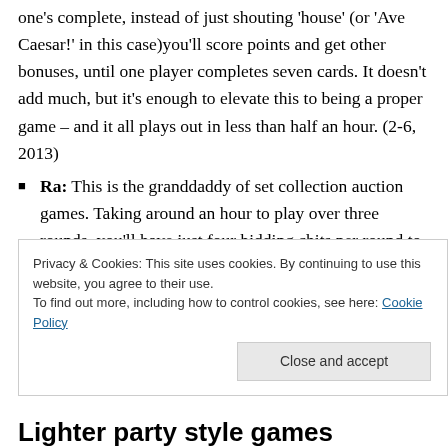one's complete, instead of just shouting 'house' (or 'Ave Caesar!' in this case)you'll score points and get other bonuses, until one player completes seven cards. It doesn't add much, but it's enough to elevate this to being a proper game – and it all plays out in less than half an hour. (2-6, 2013)
Ra: This is the granddaddy of set collection auction games. Taking around an hour to play over three rounds, you'll have just four bidding chits per round to try and gain the most points from the tiles on offer. But when do you start the next auction? Too soon and the
Privacy & Cookies: This site uses cookies. By continuing to use this website, you agree to their use.
To find out more, including how to control cookies, see here: Cookie Policy
Close and accept
Lighter party style games